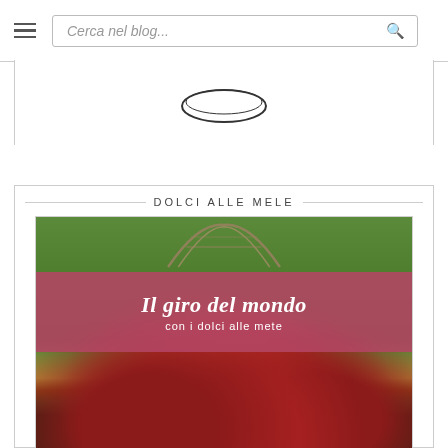≡  Cerca nel blog...
[Figure (logo): Oval/ellipse logo shape, partially visible at top center of a white bordered box]
DOLCI ALLE MELE
[Figure (photo): Photo of red apples in a wire basket on grass, with a pink banner overlay reading 'Il giro del mondo con i dolci alle mele']